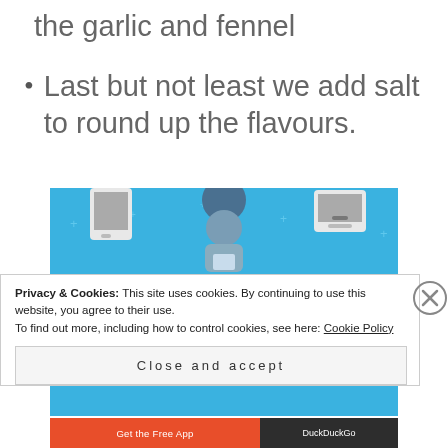the garlic and fennel
Last but not least we add salt to round up the flavours.
[Figure (screenshot): Day One journaling app advertisement on a blue background, showing icons of devices and a person, with text 'DAY ONE — The only journaling app you'll ever need.']
Privacy & Cookies: This site uses cookies. By continuing to use this website, you agree to their use.
To find out more, including how to control cookies, see here: Cookie Policy
Close and accept